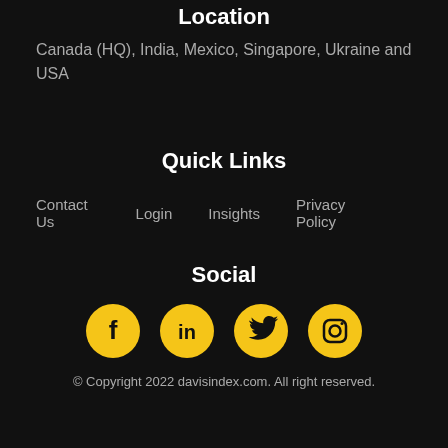Location
Canada (HQ), India, Mexico, Singapore, Ukraine and USA
Quick Links
Contact Us    Login    Insights    Privacy Policy
Social
[Figure (infographic): Four yellow circular social media icons: Facebook, LinkedIn, Twitter, Instagram]
© Copyright 2022 davisindex.com. All right reserved.